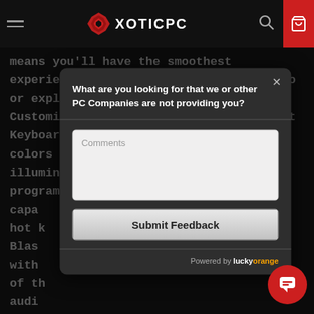XOTICPC
means you'll have the smoothest experience whether it's editing HD video or exploring a vast open world. Customizable Gaming Macro Color Back-Lit Keyboard Make it your own. Change the colors and glow effects of your illuminated keys however you like. With programmable macro capabilities, hot keys, Blast audio, with of the audio Pro S every Get got
[Figure (screenshot): Modal popup dialog on XOTICPC website asking 'What are you looking for that we or other PC Companies are not providing you?' with a Comments textarea and Submit Feedback button. Powered by Lucky Orange. Red chat bubble button in bottom right.]